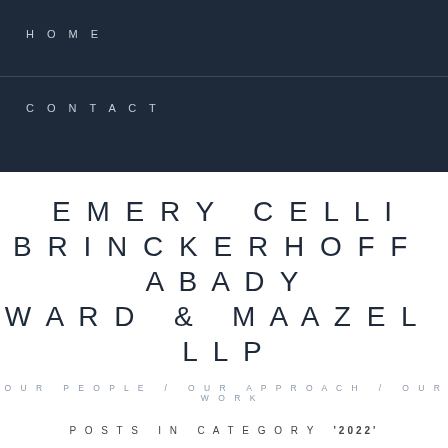HOME
CONTACT
EMERY CELLI BRINCKERHOFF ABADY WARD & MAAZEL LLP
OUR PEOPLE / OUR APPROACH / OUR WORK
POSTS IN CATEGORY '2022'